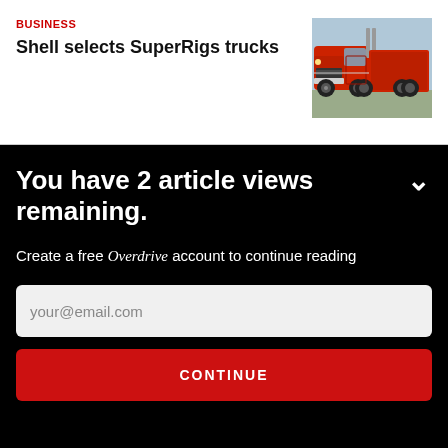BUSINESS
Shell selects SuperRigs trucks
[Figure (photo): Red semi-truck / big rig parked in a lot, side and front view, chrome details visible]
You have 2 article views remaining.
Create a free Overdrive account to continue reading
your@email.com
CONTINUE